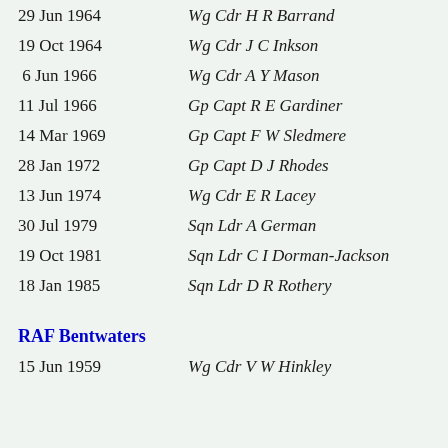29 Jun 1964 — Wg Cdr H R Barrand
19 Oct 1964 — Wg Cdr J C Inkson
6 Jun 1966 — Wg Cdr A Y Mason
11 Jul 1966 — Gp Capt R E Gardiner
14 Mar 1969 — Gp Capt F W Sledmere
28 Jan 1972 — Gp Capt D J Rhodes
13 Jun 1974 — Wg Cdr E R Lacey
30 Jul 1979 — Sqn Ldr A German
19 Oct 1981 — Sqn Ldr C I Dorman-Jackson
18 Jan 1985 — Sqn Ldr D R Rothery
RAF Bentwaters
15 Jun 1959 — Wg Cdr V W Hinkley